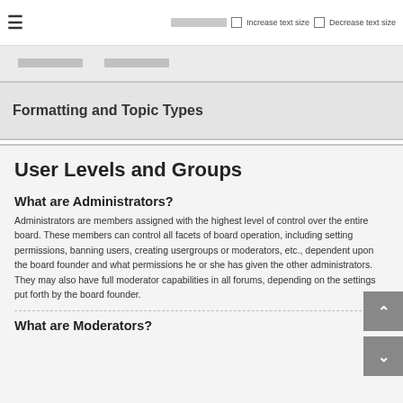≡  [nav controls] Increase text size  Decrease text size
Formatting and Topic Types
User Levels and Groups
What are Administrators?
Administrators are members assigned with the highest level of control over the entire board. These members can control all facets of board operation, including setting permissions, banning users, creating usergroups or moderators, etc., dependent upon the board founder and what permissions he or she has given the other administrators. They may also have full moderator capabilities in all forums, depending on the settings put forth by the board founder.
What are Moderators?